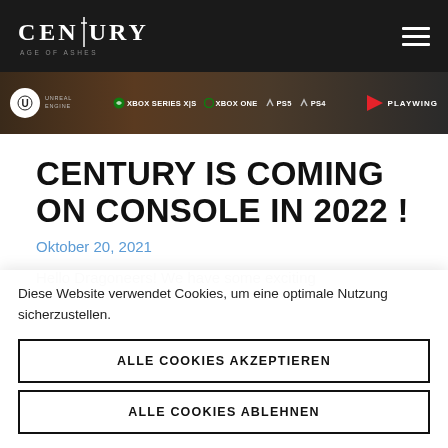Century: Age of Ashes
[Figure (screenshot): Game banner showing platform logos: Unreal Engine, Xbox Series X|S, Xbox One, PS5, PS4, Playwing]
CENTURY IS COMING ON CONSOLE IN 2022 !
Oktober 20, 2021
Hello Dragoneers! We have some exciting
Diese Website verwendet Cookies, um eine optimale Nutzung sicherzustellen.
ALLE COOKIES AKZEPTIEREN
ALLE COOKIES ABLEHNEN